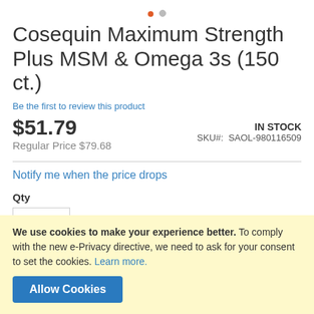Cosequin Maximum Strength Plus MSM & Omega 3s (150 ct.)
Be the first to review this product
$51.79
IN STOCK
SKU#: SAOL-980116509
Regular Price $79.68
Notify me when the price drops
Qty
1
We use cookies to make your experience better. To comply with the new e-Privacy directive, we need to ask for your consent to set the cookies. Learn more.
Allow Cookies